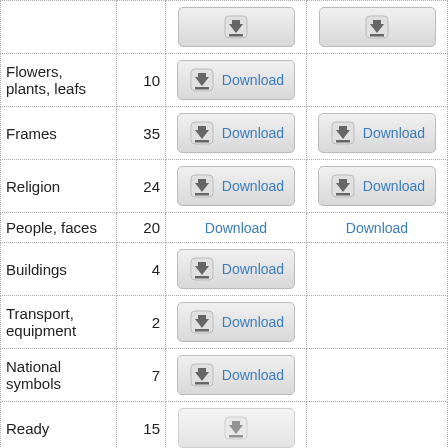| Category | Count | Download (col1) | Download (col2) | Date |
| --- | --- | --- | --- | --- |
| Flowers, plants, leafs | 10 | Download |  | 8.12 |
| Frames | 35 | Download | Download | 3.01 |
| Religion | 24 | Download | Download | 01.08 |
| People, faces | 20 | Download | Download | 05.06 |
| Buildings | 4 | Download |  | 16.06 |
| Transport, equipment | 2 | Download |  | 18.12 |
| National symbols | 7 | Download |  | 14.10 |
| Ready | 15 | Download |  | 8.12 |